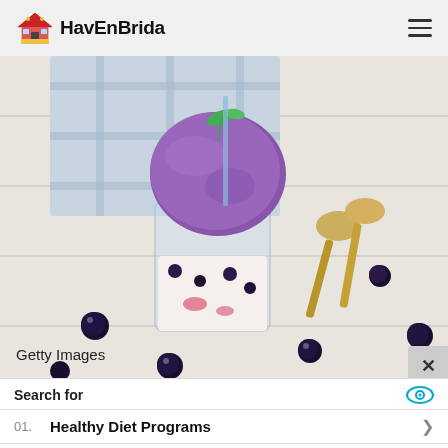HavEnBrida
[Figure (photo): A glass of blueberry ice cream sundae with a purple ice cream scoop and fresh blueberries scattered on a white wooden surface, with two antique spoons and a blue plaid cloth in the background. Getty Images watermark.]
Getty Images
Search for
01. Healthy Diet Programs
02. Quick Easy Healthy Recipes
Yahoo! Search | Sponsored